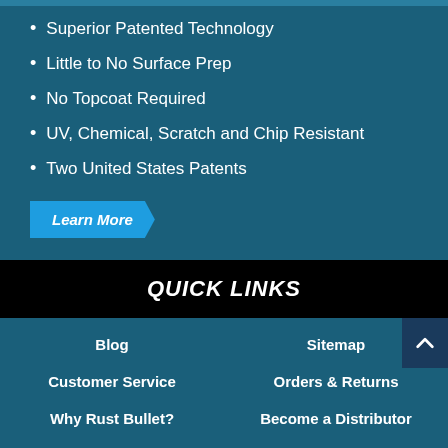Superior Patented Technology
Little to No Surface Prep
No Topcoat Required
UV, Chemical, Scratch and Chip Resistant
Two United States Patents
Learn More
QUICK LINKS
Blog
Sitemap
Customer Service
Orders & Returns
Why Rust Bullet?
Become a Distributor
Projects
About Rust Bullet
Advanced Search
Contact Us